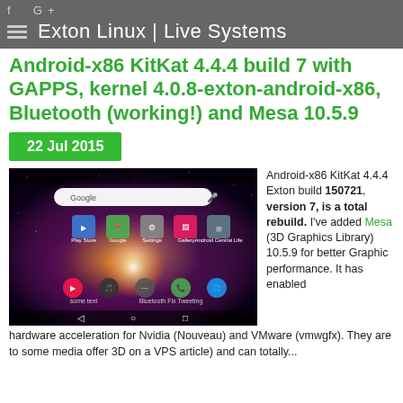f G+  ≡ Exton Linux | Live Systems
Android-x86 KitKat 4.4.4 build 7 with GAPPS, kernel 4.0.8-exton-android-x86, Bluetooth (working!) and Mesa 10.5.9
22 Jul 2015
[Figure (screenshot): Android-x86 KitKat home screen showing Google search bar, app icons including Play Store, Maps, Settings, Gallery, and Android Central Life on a space nebula wallpaper background.]
Android-x86 KitKat 4.4.4 Exton build 150721, version 7, is a total rebuild. I've added Mesa (3D Graphics Library) 10.5.9 for better Graphic performance. It has enabled hardware acceleration for Nvidia (Nouveau) and VMware (vmwgfx). They are to some media offer 3D on a VPS article) and can totally...